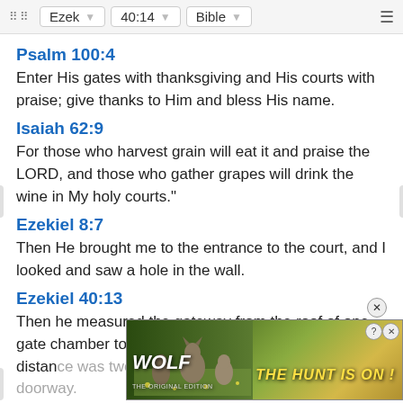Ezek  40:14  Bible
Psalm 100:4
Enter His gates with thanksgiving and His courts with praise; give thanks to Him and bless His name.
Isaiah 62:9
For those who harvest grain will eat it and praise the LORD, and those who gather grapes will drink the wine in My holy courts."
Ezekiel 8:7
Then He brought me to the entrance to the court, and I looked and saw a hole in the wall.
Ezekiel 40:13
Then he measured the gateway from the roof of one gate chamber to the roof of the opposite one; the distance was twenty-five cubits from doorway to doorway.
[Figure (other): Wolf game advertisement banner: 'Wolf THE HUNT IS ON!' with wolves in a meadow background]